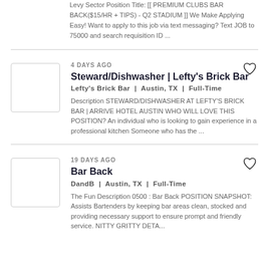Levy Sector Position Title: [[ PREMIUM CLUBS BAR BACK($15/HR + TIPS) - Q2 STADIUM ]] We Make Applying Easy! Want to apply to this job via text messaging? Text JOB to 75000 and search requisition ID ...
4 DAYS AGO Steward/Dishwasher | Lefty's Brick Bar Lefty's Brick Bar | Austin, TX | Full-Time Description STEWARD/DISHWASHER AT LEFTY'S BRICK BAR | ARRIVE HOTEL AUSTIN WHO WILL LOVE THIS POSITION? An individual who is looking to gain experience in a professional kitchen Someone who has the ...
19 DAYS AGO Bar Back DandB | Austin, TX | Full-Time The Fun Description 0500 : Bar Back POSITION SNAPSHOT: Assists Bartenders by keeping bar areas clean, stocked and providing necessary support to ensure prompt and friendly service. NITTY GRITTY DETA...